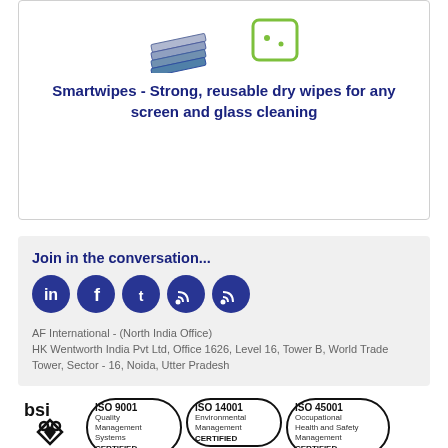[Figure (illustration): Product card showing stacked wipes illustration on left and a green wash basin icon on right]
Smartwipes - Strong, reusable dry wipes for any screen and glass cleaning
Join in the conversation...
[Figure (illustration): Row of 5 social media icons: LinkedIn, Facebook, Twitter, RSS feed (x2) in dark navy circles]
AF International - (North India Office)
HK Wentworth India Pvt Ltd, Office 1626, Level 16, Tower B, World Trade Tower, Sector - 16, Noida, Utter Pradesh
[Figure (logo): BSI logo with heart symbol and three certification ovals: ISO 9001 Quality Management Systems CERTIFIED, ISO 14001 Environmental Management CERTIFIED, ISO 45001 Occupational Health and Safety Management CERTIFIED]